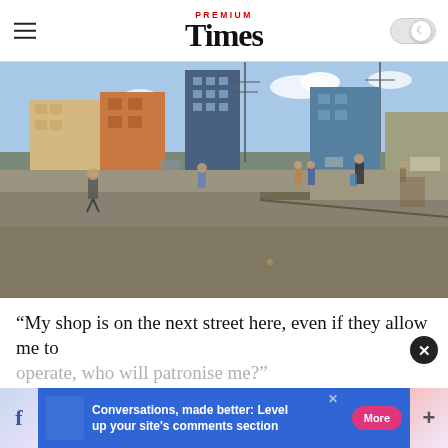PREMIUM Times
[Figure (photo): A wide street scene in a Nigerian city showing a near-empty road with a few pedestrians and vehicles in the background, buildings visible on both sides, taken during daytime.]
“My shop is on the next street here, even if they allow me to operate, who will patronise me?”
[Figure (infographic): Advertisement bar at the bottom: Facebook icon on left, blue banner reading 'Conversations, made better: Level up your site's comments section', pink More button, and a plus icon on right.]